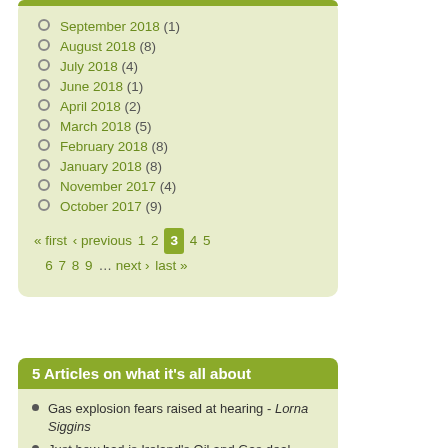September 2018 (1)
August 2018 (8)
July 2018 (4)
June 2018 (1)
April 2018 (2)
March 2018 (5)
February 2018 (8)
January 2018 (8)
November 2017 (4)
October 2017 (9)
« first ‹ previous 1 2 3 4 5 6 7 8 9 … next › last »
5 Articles on what it's all about
Gas explosion fears raised at hearing - Lorna Siggins
Just how bad is Ireland's Oil and Gas deal - Shell to Sea
Now you are talking my language